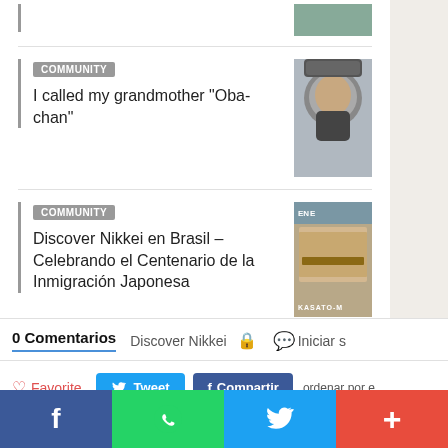[Figure (photo): Partial top image cropped at top of page]
COMMUNITY
I called my grandmother "Oba-chan"
[Figure (photo): Portrait photo of a man wearing a cap]
COMMUNITY
Discover Nikkei en Brasil – Celebrando el Centenario de la Inmigración Japonesa
[Figure (photo): Festival crowd photo with KASATO-MA banner, EN badge]
0 Comentarios
Discover Nikkei
Iniciar s
Favorite
Tweet
Compartir
ordenar por e
Comienza la discusión